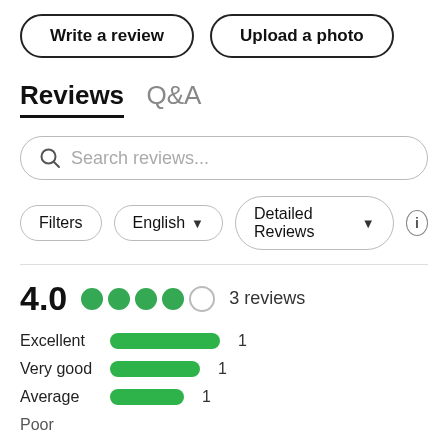[Figure (screenshot): Two pill-shaped buttons: 'Write a review' and 'Upload a photo']
Reviews  Q&A
[Figure (screenshot): Search reviews input field with magnifying glass icon]
[Figure (screenshot): Filter buttons: Filters, English (dropdown), Detailed Reviews (dropdown), and info icon]
[Figure (bar-chart): 4.0 rating with 4 filled green dots and 1 empty dot, 3 reviews. Bar chart showing Excellent: 1, Very good: 1, Average: 1]